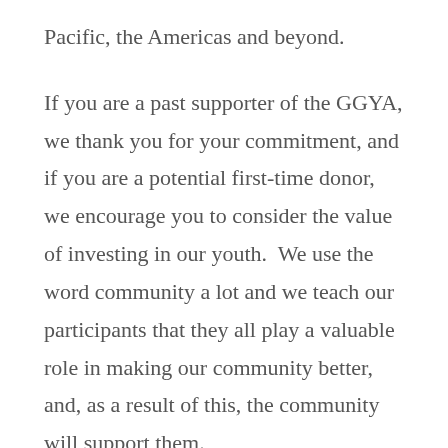Pacific, the Americas and beyond.

If you are a past supporter of the GGYA, we thank you for your commitment, and if you are a potential first-time donor, we encourage you to consider the value of investing in our youth.  We use the word community a lot and we teach our participants that they all play a valuable role in making our community better, and, as a result of this, the community will support them. We therefore hope you will agree that